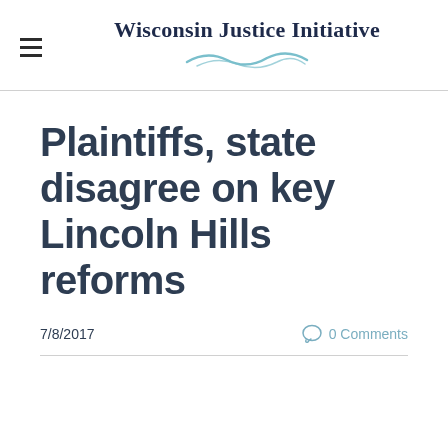Wisconsin Justice Initiative
Plaintiffs, state disagree on key Lincoln Hills reforms
7/8/2017
0 Comments